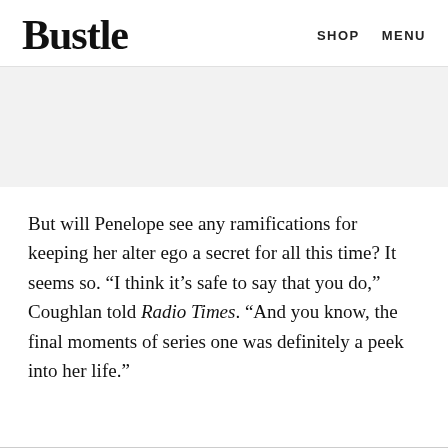Bustle   SHOP   MENU
But will Penelope see any ramifications for keeping her alter ego a secret for all this time? It seems so. “I think it’s safe to say that you do,” Coughlan told Radio Times. “And you know, the final moments of series one was definitely a peek into her life.”